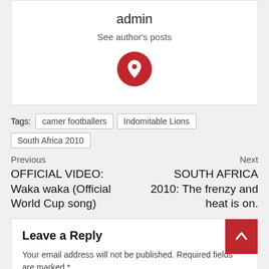admin
See author's posts
[Figure (illustration): Red circle icon with a white heart/location pin symbol]
Tags: camer footballers | Indomitable Lions | South Africa 2010
Previous
OFFICIAL VIDEO: Waka waka (Official World Cup song)
Next
SOUTH AFRICA 2010: The frenzy and heat is on.
Leave a Reply
Your email address will not be published. Required fields are marked *